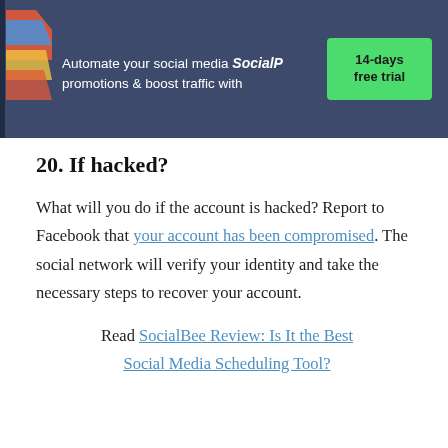Automate your social media promotions & boost traffic with SocialP... 14-days free trial
20. If hacked?
What will you do if the account is hacked? Report to Facebook that your account has been compromised. The social network will verify your identity and take the necessary steps to recover your account.
Read SocialBee Review: Is It the Best Social Media Scheduling Tool?